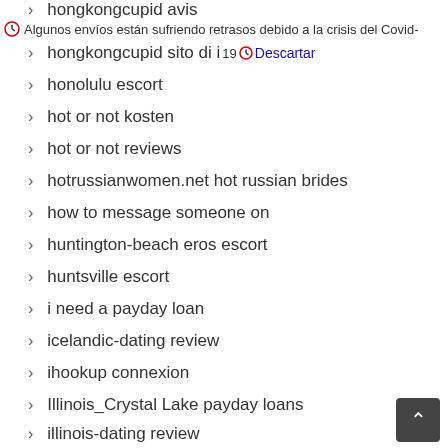hongkongcupid avis
Algunos envíos están sufriendo retrasos debido a la crisis del Covid-
hongkongcupid sito di incontri
19  Descartar
honolulu escort
hot or not kosten
hot or not reviews
hotrussianwomen.net hot russian brides
how to message someone on
huntington-beach eros escort
huntsville escort
i need a payday loan
icelandic-dating review
ihookup connexion
Illinois_Crystal Lake payday loans
illinois-dating review
ilove review